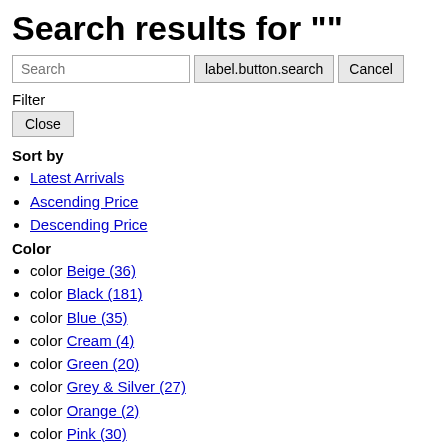Search results for ""
Search  label.button.search  Cancel
Filter
Close
Sort by
Latest Arrivals
Ascending Price
Descending Price
Color
color Beige (36)
color Black (181)
color Blue (35)
color Cream (4)
color Green (20)
color Grey & Silver (27)
color Orange (2)
color Pink (30)